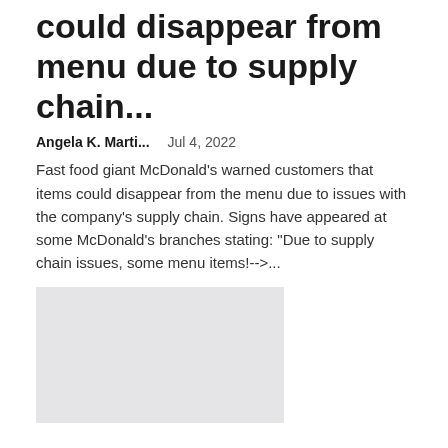could disappear from menu due to supply chain...
Angela K. Marti...    Jul 4, 2022
Fast food giant McDonald's warned customers that items could disappear from the menu due to issues with the company's supply chain. Signs have appeared at some McDonald's branches stating: "Due to supply chain issues, some menu items!-->...
[Figure (photo): Gray placeholder image for article thumbnail]
St John's Restaurant will bring a modern British menu to